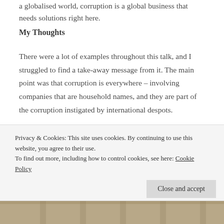a globalised world, corruption is a global business that needs solutions right here.
My Thoughts
There were a lot of examples throughout this talk, and I struggled to find a take-away message from it. The main point was that corruption is everywhere – involving companies that are household names, and they are part of the corruption instigated by international despots.
Privacy & Cookies: This site uses cookies. By continuing to use this website, you agree to their use.
To find out more, including how to control cookies, see here: Cookie Policy
Close and accept
[Figure (photo): Bottom strip showing architectural columns or building detail]